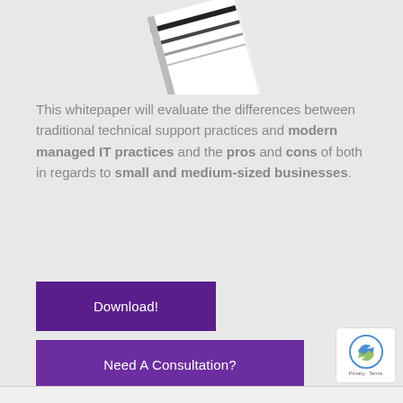[Figure (illustration): A tilted whitepaper/booklet with black and white striped cover, partially visible at the top of the page]
This whitepaper will evaluate the differences between traditional technical support practices and modern managed IT practices and the pros and cons of both in regards to small and medium-sized businesses.
Download!
Need A Consultation?